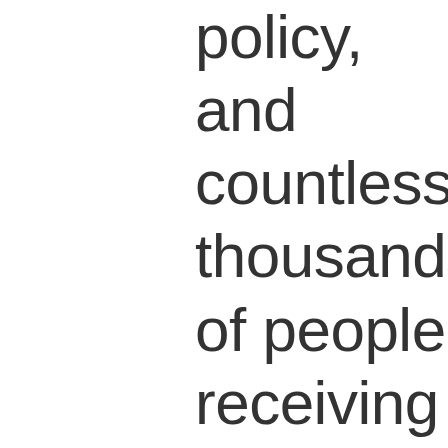policy, and countless thousands of people receiving blood transfusions